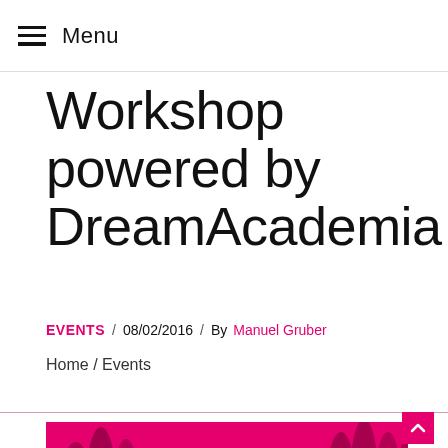Menu
Workshop powered by DreamAcademia
EVENTS / 08/02/2016 / By Manuel Gruber
Home / Events
[Figure (photo): Duotone pink/magenta photo of a person holding a soccer ball on a sports field, with tall trees in the background]